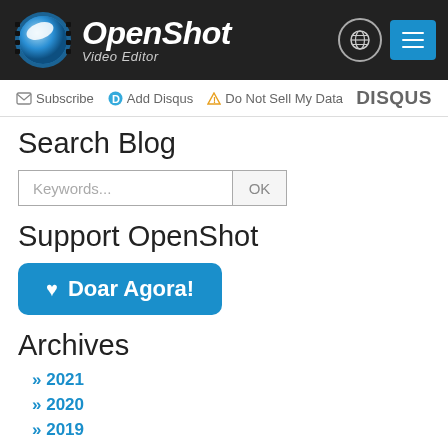OpenShot Video Editor
Subscribe  Add Disqus  Do Not Sell My Data   DISQUS
Search Blog
Keywords... OK
Support OpenShot
♥ Doar Agora!
Archives
» 2021
» 2020
» 2019